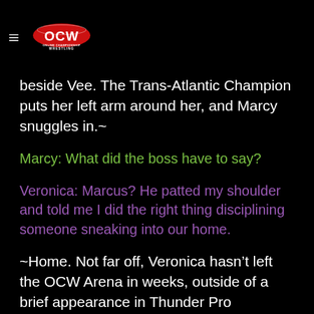OCW Online Championship Wrestling
beside Vee. The Trans-Atlantic Champion puts her left arm around her, and Marcy snuggles in.~
Marcy: What did the boss have to say?
Veronica: Marcus? He patted my shoulder and told me I did the right thing disciplining someone sneaking into our home.
~Home. Not far off, Veronica hasn't left the OCW Arena in weeks, outside of a brief appearance in Thunder Pro Wrestling.~
Marcy: Ready for Dylan Thomas?